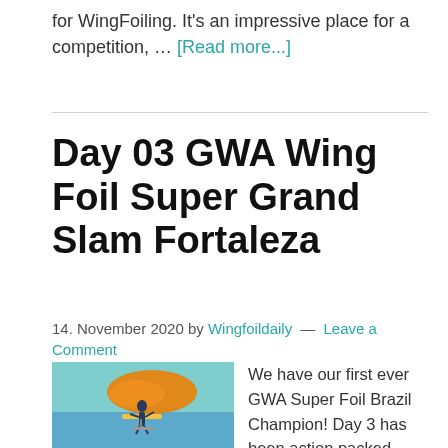for WingFoiling. It's an impressive place for a competition, … [Read more...]
Day 03 GWA Wing Foil Super Grand Slam Fortaleza
14. November 2020 by Wingfoildaily — Leave a Comment
[Figure (photo): Photo of a wing foiler on water holding an orange foil wing, leaning over the board]
We have our first ever GWA Super Foil Brazil Champion! Day 3 has been action packed here in Fortaleza. The wind was up and down and judges decided